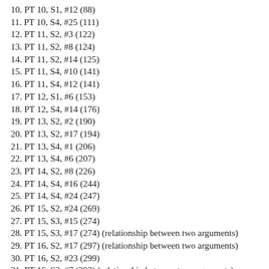10. PT 10, S1, #12 (88)
11. PT 10, S4, #25 (111)
12. PT 11, S2, #3 (122)
13. PT 11, S2, #8 (124)
14. PT 11, S2, #14 (125)
15. PT 11, S4, #10 (141)
16. PT 11, S4, #12 (141)
17. PT 12, S1, #6 (153)
18. PT 12, S4, #14 (176)
19. PT 13, S2, #2 (190)
20. PT 13, S2, #17 (194)
21. PT 13, S4, #1 (206)
22. PT 13, S4, #6 (207)
23. PT 14, S2, #8 (226)
24. PT 14, S4, #16 (244)
25. PT 14, S4, #24 (247)
26. PT 15, S2, #24 (269)
27. PT 15, S3, #15 (274)
28. PT 15, S3, #17 (274) (relationship between two arguments)
29. PT 16, S2, #17 (297) (relationship between two arguments)
30. PT 16, S2, #23 (299)
31. PT 16, S3, #7 (302) (relationship between two arguments)
32. PT 16, S2, #29 (305)